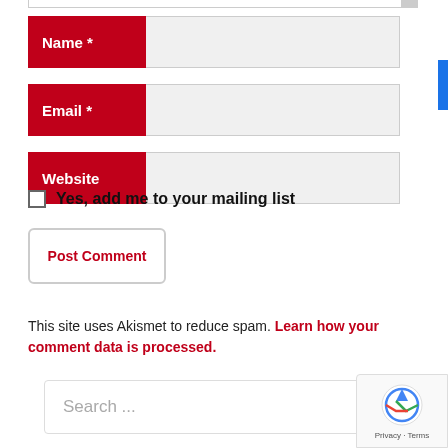Name *
Email *
Website
Yes, add me to your mailing list
Post Comment
This site uses Akismet to reduce spam. Learn how your comment data is processed.
Search ...